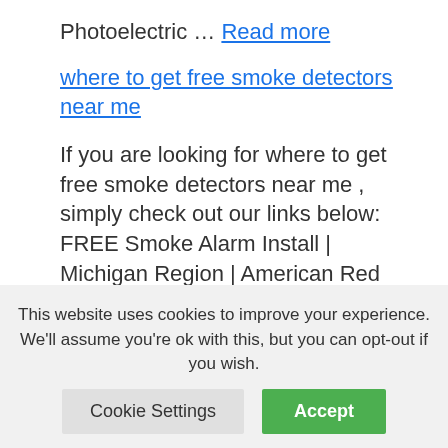Photoelectric … Read more
where to get free smoke detectors near me
If you are looking for where to get free smoke detectors near me , simply check out our links below: FREE Smoke Alarm Install | Michigan Region | American Red Cross Smoke Alarm Request · Request A Smoke Alarm · Smoke Alarms Save Lives. Register to get your free smoke alarm
This website uses cookies to improve your experience. We'll assume you're ok with this, but you can opt-out if you wish. [Cookie Settings] [Accept]